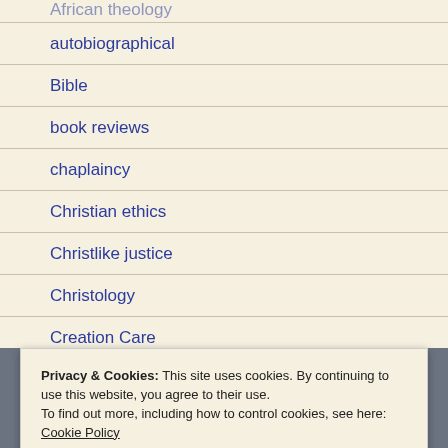African theology
autobiographical
Bible
book reviews
chaplaincy
Christian ethics
Christlike justice
Christology
Creation Care
discipleship
Privacy & Cookies: This site uses cookies. By continuing to use this website, you agree to their use.
To find out more, including how to control cookies, see here: Cookie Policy
Close and accept